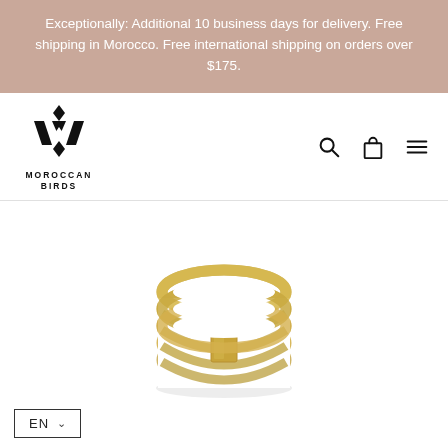Exceptionally: Additional 10 business days for delivery. Free shipping in Morocco. Free international shipping on orders over $175.
[Figure (logo): Moroccan Birds logo: stylized M with diamond shapes, text MOROCCAN BIRDS below]
[Figure (photo): Gold multi-band ring with rectangular connector piece, stacked five-band brass ring product photo on white background]
EN